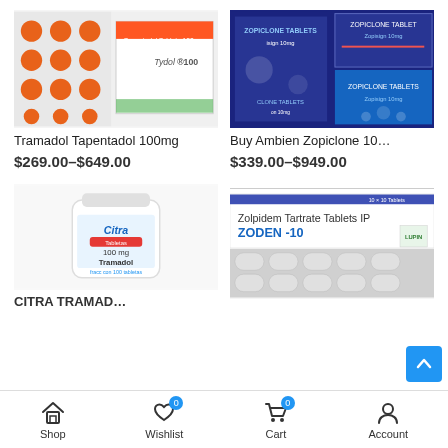[Figure (photo): Tapentadol Tablets 100mg (Tydol 100) blister pack and box with orange tablets]
Tramadol Tapentadol 100mg
$269.00–$649.00
[Figure (photo): Zopiclone 10mg Zopisign tablets blue packaging boxes]
Buy Ambien Zopiclone 10…
$339.00–$949.00
[Figure (photo): Citra Tabletas 100mg Tramadol white pill bottle]
[Figure (photo): Zolpidem Tartrate Tablets IP ZODEN-10 by Lupin, blister packs with white capsules]
CITRA TRAMAD…
Shop  Wishlist 0  Cart 0  Account